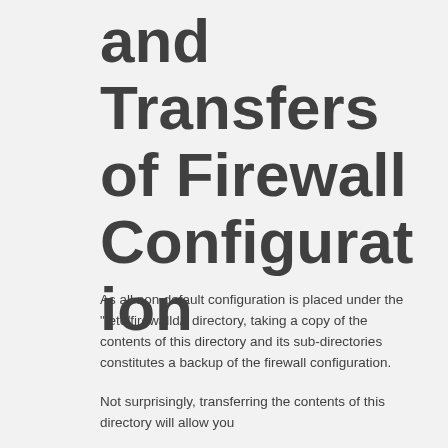and Transfers of Firewall Configuration
As all non-default configuration is placed under the "/etc/firewalld/" directory, taking a copy of the contents of this directory and its sub-directories constitutes a backup of the firewall configuration.
Not surprisingly, transferring the contents of this directory will allow you